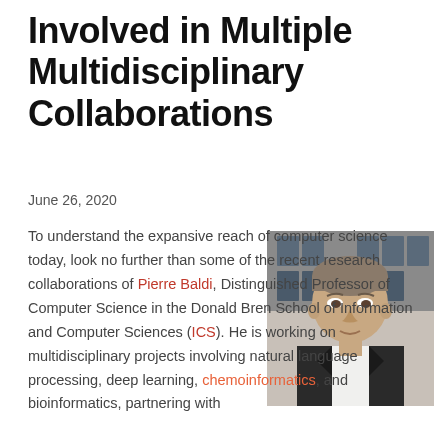Involved in Multiple Multidisciplinary Collaborations
June 26, 2020
[Figure (photo): Portrait photo of Pierre Baldi, a middle-aged man in a dark suit jacket and white shirt, photographed outdoors in front of a building.]
To understand the expansive reach of computer science today, look no further than some of the recent research collaborations of Pierre Baldi, Distinguished Professor of Computer Science in the Donald Bren School of Information and Computer Sciences (ICS). He is working on multidisciplinary projects involving natural language processing, deep learning, chemoinformatics, and bioinformatics, partnering with